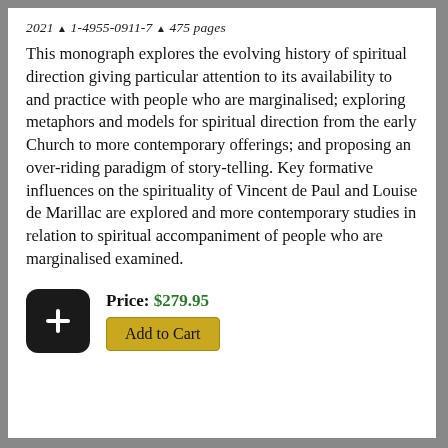2021 ▲ 1-4955-0911-7 ▲ 475 pages
This monograph explores the evolving history of spiritual direction giving particular attention to its availability to and practice with people who are marginalised; exploring metaphors and models for spiritual direction from the early Church to more contemporary offerings; and proposing an over-riding paradigm of story-telling. Key formative influences on the spirituality of Vincent de Paul and Louise de Marillac are explored and more contemporary studies in relation to spiritual accompaniment of people who are marginalised examined.
Price: $279.95
Add to Cart